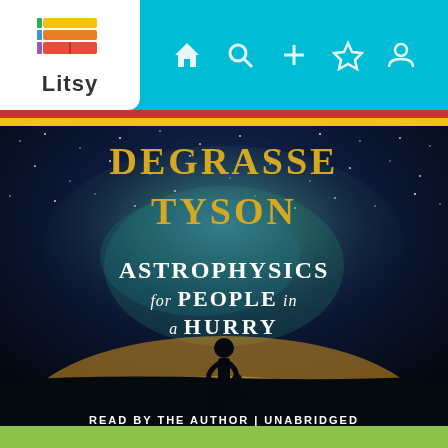[Figure (screenshot): Litsy app screenshot showing the audiobook cover of 'Astrophysics for People in a Hurry' by Neil deGrasse Tyson. The app has a teal navigation bar at the top with a Litsy logo (colorful stacked books) on the left and navigation icons (home, search, add, activity, profile) on the right. Below is a red and yellow stripe. The book cover shows a dark night sky with the Milky Way galaxy, a silhouette of a person standing in a field, with text 'DEGRASSE TYSON' at the top in gold serif letters, 'ASTROPHYSICS for PEOPLE in a HURRY' in white text, and 'READ BY THE AUTHOR | UNABRIDGED' at the bottom. A green bar appears at the bottom of the screen.]